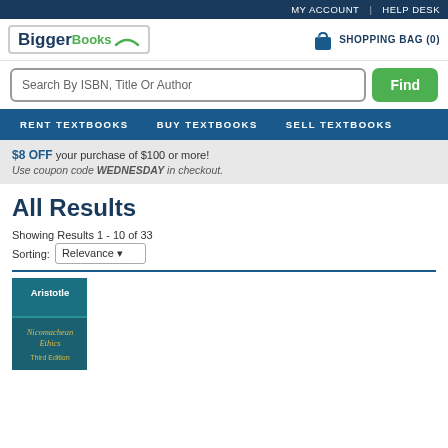MY ACCOUNT | HELP DESK
[Figure (logo): BiggerBooks logo with blue 'Bigger' and green 'Books' text inside a bordered box]
[Figure (illustration): Shopping bag icon with SHOPPING BAG (0) text]
Search By ISBN, Title Or Author
Find
RENT TEXTBOOKS   BUY TEXTBOOKS   SELL TEXTBOOKS
$8 OFF your purchase of $100 or more! Use coupon code WEDNESDAY in checkout.
All Results
Showing Results 1 - 10 of 33
Sorting: Relevance
[Figure (illustration): Book cover: Aristotle Nicomachean Ethics Third Edition, teal/dark teal background with gold text]